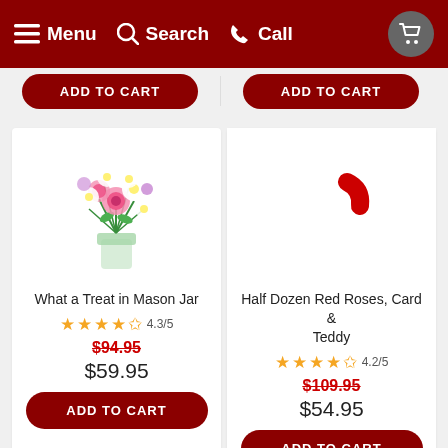Menu  Search  Call
[Figure (photo): Flower bouquet in a mason jar with pink roses and white daisies]
What a Treat in Mason Jar
4.3/5
$94.95
$59.95
ADD TO CART
[Figure (photo): Loading image for Half Dozen Red Roses, Card & Teddy — partial red curved shape visible]
Half Dozen Red Roses, Card & Teddy
4.2/5
$109.95
$54.95
ADD TO CART